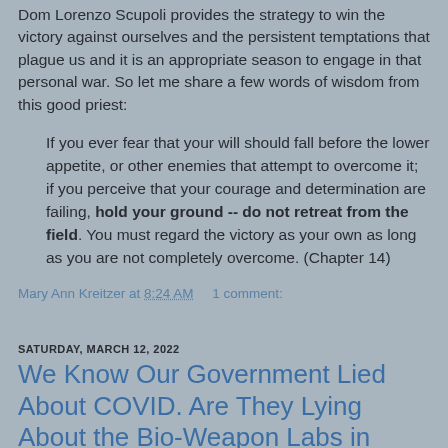Dom Lorenzo Scupoli provides the strategy to win the victory against ourselves and the persistent temptations that plague us and it is an appropriate season to engage in that personal war. So let me share a few words of wisdom from this good priest:
If you ever fear that your will should fall before the lower appetite, or other enemies that attempt to overcome it; if you perceive that your courage and determination are failing, hold your ground -- do not retreat from the field. You must regard the victory as your own as long as you are not completely overcome. (Chapter 14)
Mary Ann Kreitzer at 8:24 AM    1 comment:
SATURDAY, MARCH 12, 2022
We Know Our Government Lied About COVID. Are They Lying About the Bio-Weapon Labs in Ukraine?